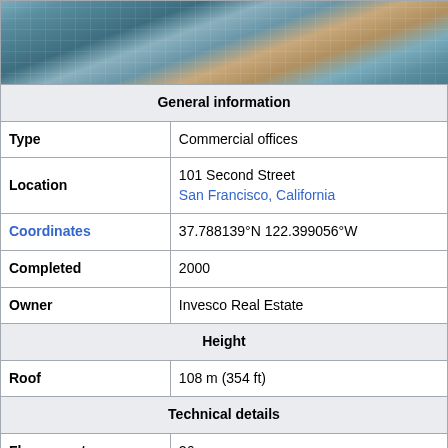[Figure (photo): Photograph of a modern glass and steel commercial office building facade]
| General information |
| Type | Commercial offices |
| Location | 101 Second Street
San Francisco, California |
| Coordinates | 37.788139°N 122.399056°W |
| Completed | 2000 |
| Owner | Invesco Real Estate |
| Height |
| Roof | 108 m (354 ft) |
| Technical details |
| Floor count | 26 |
| Floor area | 388,000 sq ft (36,000 m²) |